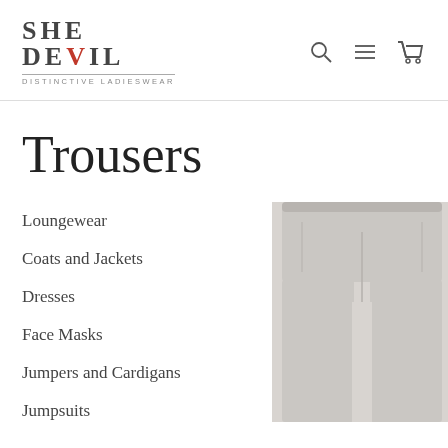[Figure (logo): She Devil Distinctive Ladieswear logo — two-line bold serif text 'SHE' on top, 'deVIL' below with V in red, tagline 'DISTINCTIVE LADIESWEAR' underneath with a thin rule]
[Figure (infographic): Navigation icons: search (magnifying glass), hamburger menu, shopping cart]
Trousers
Loungewear
Coats and Jackets
Dresses
Face Masks
Jumpers and Cardigans
Jumpsuits
[Figure (photo): Product photo of light grey wide-leg trousers with a dark grey 'SAVE £38.00' badge in the top right corner]